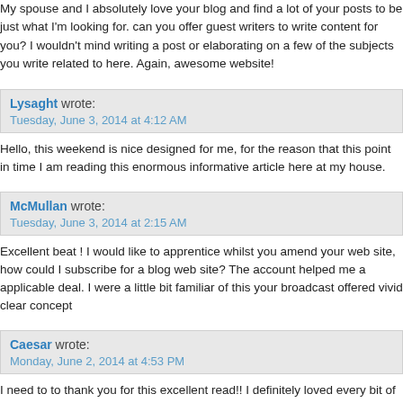My spouse and I absolutely love your blog and find a lot of your posts to be just what I'm looking for. can you offer guest writers to write content for you? I wouldn't mind writing a post or elaborating on a few of the subjects you write related to here. Again, awesome website!
Lysaght wrote:
Tuesday, June 3, 2014 at 4:12 AM
Hello, this weekend is nice designed for me, for the reason that this point in time I am reading this enormous informative article here at my house.
McMullan wrote:
Tuesday, June 3, 2014 at 2:15 AM
Excellent beat ! I would like to apprentice whilst you amend your web site, how could I subscribe for a blog web site? The account helped me a applicable deal. I were a little bit familiar of this your broadcast offered vivid clear concept
Caesar wrote:
Monday, June 2, 2014 at 4:53 PM
I need to to thank you for this excellent read!! I definitely loved every bit of it. I have got you bookmarked to check out new things you post_
Paquin wrote:
Monday, June 2, 2014 at 4:07 PM
Another sort of wordplay that's humorous is saying one word when you meana